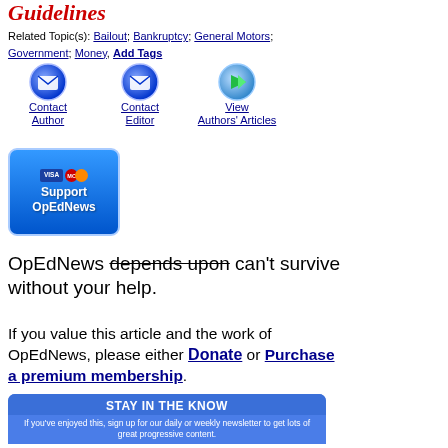Guidelines
Related Topic(s): Bailout; Bankruptcy; General Motors; Government; Money, Add Tags
[Figure (other): Contact Author icon - blue email button]
[Figure (other): Contact Editor icon - blue email button]
[Figure (other): View Authors Articles icon - blue arrow button]
[Figure (other): Support OpEdNews button with Visa/Mastercard logos]
OpEdNews depends upon can't survive without your help.
If you value this article and the work of OpEdNews, please either Donate or Purchase a premium membership.
STAY IN THE KNOW
If you've enjoyed this, sign up for our daily or weekly newsletter to get lots of great progressive content.
Daily  Weekly  OpEd News Newsletter
Enter Your Name
Name